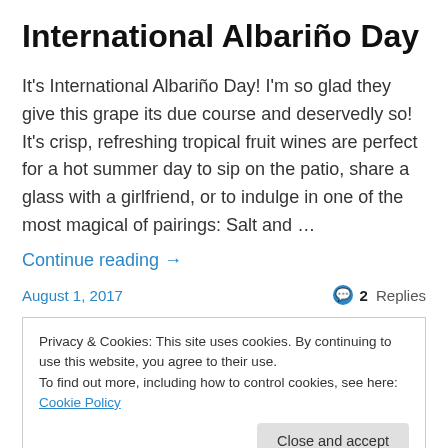International Albariño Day
It's International Albariño Day! I'm so glad they give this grape its due course and deservedly so! It's crisp, refreshing tropical fruit wines are perfect for a hot summer day to sip on the patio, share a glass with a girlfriend, or to indulge in one of the most magical of pairings: Salt and …
Continue reading →
August 1, 2017   2 Replies
Privacy & Cookies: This site uses cookies. By continuing to use this website, you agree to their use.
To find out more, including how to control cookies, see here: Cookie Policy
Close and accept